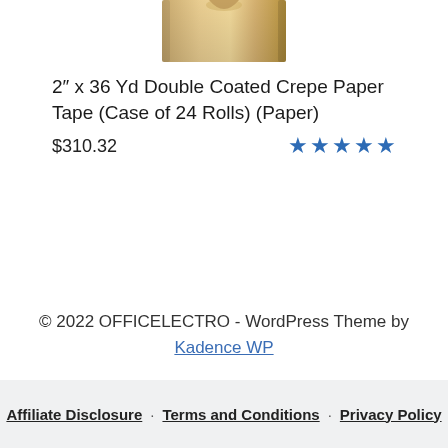[Figure (photo): Partial view of a roll of tan/gold double coated crepe paper tape on a white background]
2" x 36 Yd Double Coated Crepe Paper Tape (Case of 24 Rolls) (Paper)
$310.32
[Figure (other): 5 blue star rating icons]
© 2022 OFFICELECTRO - WordPress Theme by Kadence WP
Affiliate Disclosure · Terms and Conditions · Privacy Policy